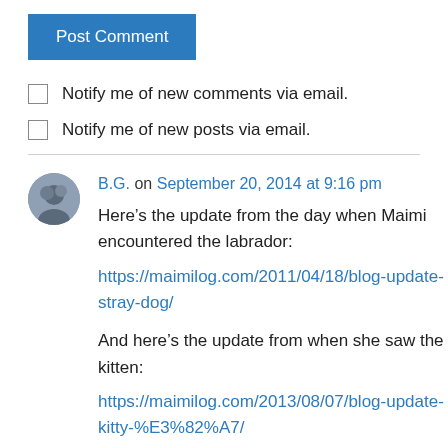Post Comment
Notify me of new comments via email.
Notify me of new posts via email.
B.G. on September 20, 2014 at 9:16 pm
Here’s the update from the day when Maimi encountered the labrador:
https://maimilog.com/2011/04/18/blog-update-stray-dog/
And here’s the update from when she saw the kitten:
https://maimilog.com/2013/08/07/blog-update-kitty-%E3%82%A7/